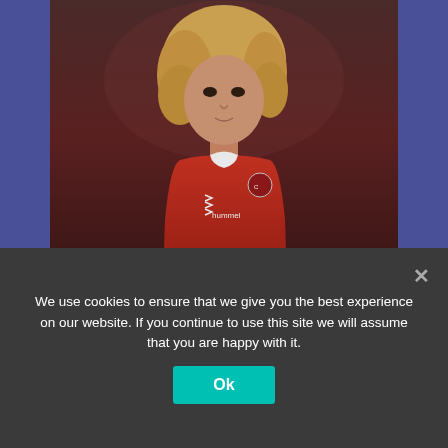[Figure (photo): Photo of Ebony Salmon, a female football player wearing a red Hummel jersey with a club crest, with curly blonde hair, looking ahead. The image has a dark, moody tone.]
Ebony Salmon keen to make the right impression with Lionesses
SEARCH
We use cookies to ensure that we give you the best experience on our website. If you continue to use this site we will assume that you are happy with it.